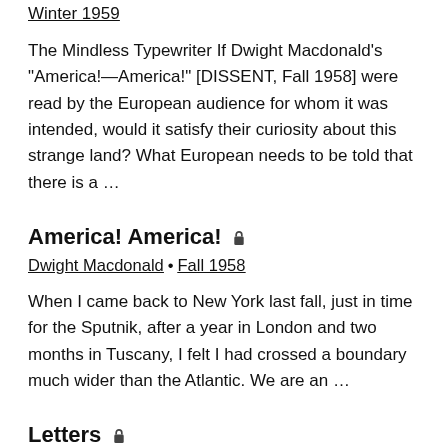Winter 1959
The Mindless Typewriter If Dwight Macdonald’s “America!—America!” [DISSENT, Fall 1958] were read by the European audience for whom it was intended, would it satisfy their curiosity about this strange land? What European needs to be told that there is a …
America! America!
Dwight Macdonald • Fall 1958
When I came back to New York last fall, just in time for the Sputnik, after a year in London and two months in Tuscany, I felt I had crossed a boundary much wider than the Atlantic. We are an …
Letters